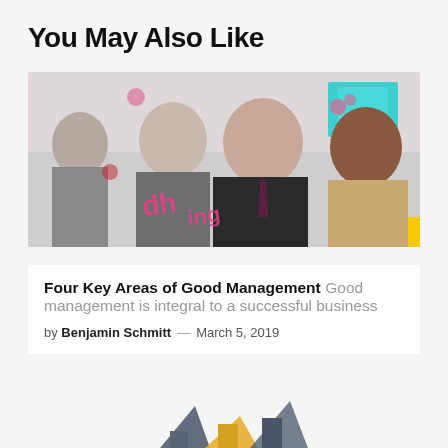You May Also Like
[Figure (photo): Three business professionals in office setting looking at a glass wall with pink marker writing and sticky notes. The central figure is a bearded man in a suit and tie, flanked by colleagues.]
Four Key Areas of Good Management Good management is integral to a successful business
by Benjamin Schmitt — March 5, 2019
[Figure (illustration): Partial view of a bar chart or infographic at the bottom of the page, partially cropped.]